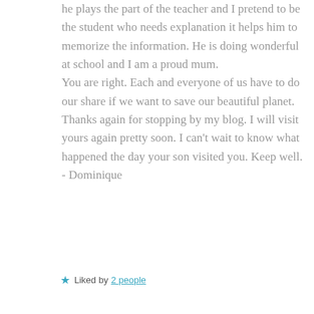he plays the part of the teacher and I pretend to be the student who needs explanation it helps him to memorize the information. He is doing wonderful at school and I am a proud mum. You are right. Each and everyone of us have to do our share if we want to save our beautiful planet. Thanks again for stopping by my blog. I will visit yours again pretty soon. I can't wait to know what happened the day your son visited you. Keep well. - Dominique
★ Liked by 2 people